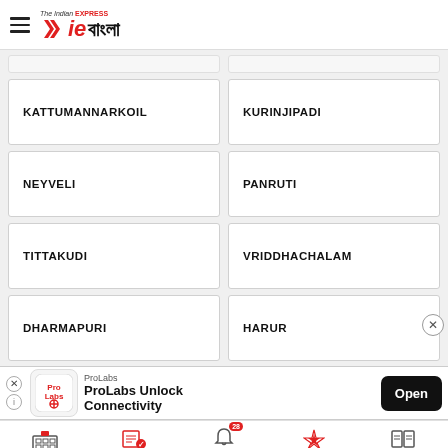The Indian EXPRESS — ie বাংলা
KATTUMANNARKOIL
KURINJIPADI
NEYVELI
PANRUTI
TITTAKUDI
VRIDDHACHALAM
DHARMAPURI
HARUR
[Figure (screenshot): ProLabs advertisement banner: ProLabs Unlock Connectivity with Open button]
হোমপেজ  ই-পেপার  latest news 28  রাজ্যভোট  ই-পেপার